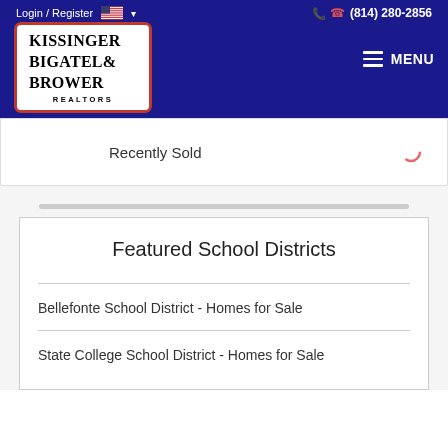Login / Register  🇺🇸 ▾   (814) 280-2856
[Figure (logo): Kissinger Bigatel & Brower Realtors logo in white box with red border]
≡ MENU
Recently Sold
Featured School Districts
Bellefonte School District - Homes for Sale
State College School District - Homes for Sale